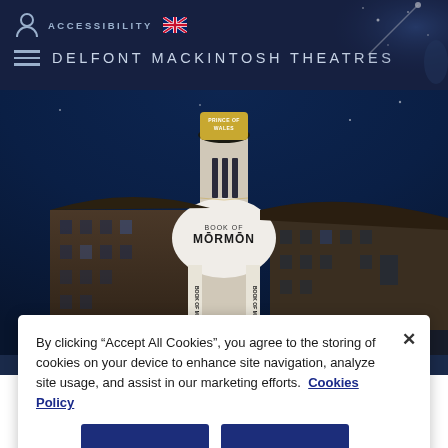ACCESSIBILITY  [UK flag]  DELFONT MACKINTOSH THEATRES
[Figure (photo): Nighttime exterior photo of the Prince of Wales Theatre in London, with a circular tower bearing the theatre name and a Book of Mormon show banner wrapped around it. Deep blue sky in background.]
By clicking “Accept All Cookies”, you agree to the storing of cookies on your device to enhance site navigation, analyze site usage, and assist in our marketing efforts.  Cookies Policy